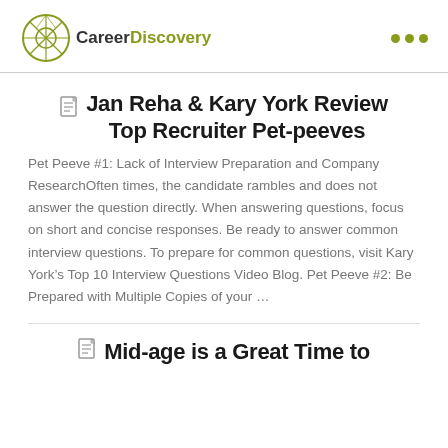CareerDiscovery
Jan Reha & Kary York Review Top Recruiter Pet-peeves
Pet Peeve #1: Lack of Interview Preparation and Company ResearchOften times, the candidate rambles and does not answer the question directly. When answering questions, focus on short and concise responses. Be ready to answer common interview questions. To prepare for common questions, visit Kary York’s Top 10 Interview Questions Video Blog. Pet Peeve #2: Be Prepared with Multiple Copies of your …
Mid-age is a Great Time to